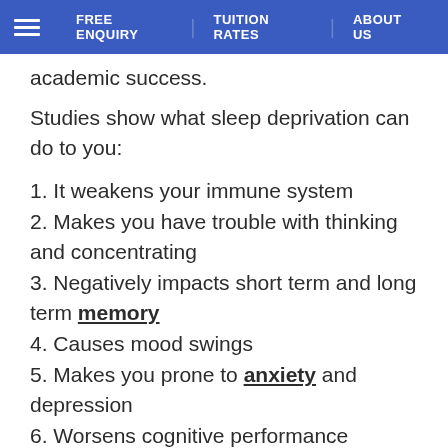FREE ENQUIRY | TUITION RATES | ABOUT US
academic success.
Studies show what sleep deprivation can do to you:
1. It weakens your immune system
2. Makes you have trouble with thinking and concentrating
3. Negatively impacts short term and long term memory
4. Causes mood swings
5. Makes you prone to anxiety and depression
6. Worsens cognitive performance
7. Poor attention
W...